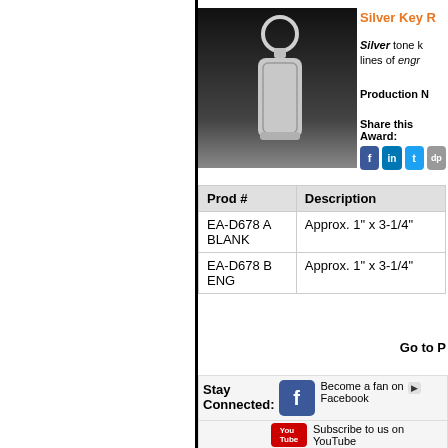[Figure (photo): Silver key ring/keychain on dark background]
Silver Key R...
Silver tone k... lines of engr...
Production N...
Share this Award:
| Prod # | Description |
| --- | --- |
| EA-D678 A BLANK | Approx. 1" x 3-1/4" |
| EA-D678 B ENG | Approx. 1" x 3-1/4" |
Go to P...
Stay Connected:
Become a fan on Facebook
Subscribe to us on YouTube